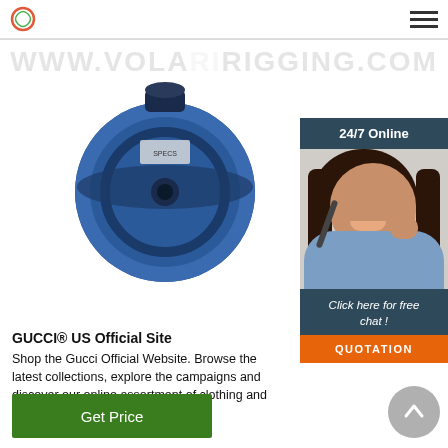www.volaririgging.com
[Figure (photo): Blue industrial pulley/sheave block product photo on white background]
[Figure (photo): 24/7 Online chat widget with customer service representative photo, 'Click here for free chat!' text, and orange QUOTATION button]
GUCCI® US Official Site
Shop the Gucci Official Website. Browse the latest collections, explore the campaigns and discover our online assortment of clothing and accessories.
[Figure (other): Green 'Get Price' button and grey scroll-to-top arrow button]